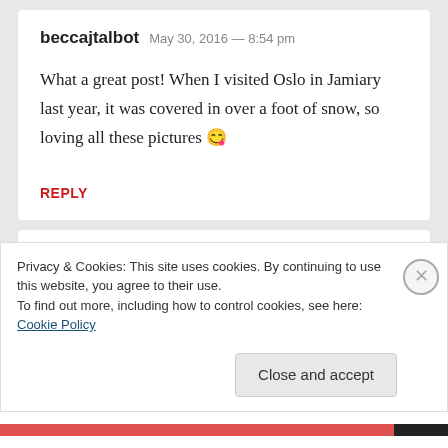beccajtalbot  May 30, 2016 — 8:54 pm
What a great post! When I visited Oslo in Jamiary last year, it was covered in over a foot of snow, so loving all these pictures 😊
REPLY
Privacy & Cookies: This site uses cookies. By continuing to use this website, you agree to their use.
To find out more, including how to control cookies, see here: Cookie Policy
Close and accept